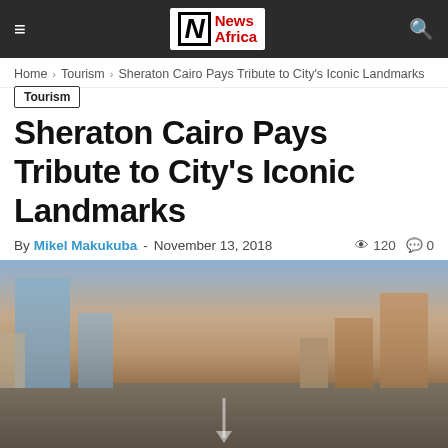News Africa
Home › Tourism › Sheraton Cairo Pays Tribute to City's Iconic Landmarks
Tourism
Sheraton Cairo Pays Tribute to City's Iconic Landmarks
By Mikel Makukuba - November 13, 2018  120  0
[Figure (photo): Blurred city skyline with tall buildings and a road leading toward them at dusk/dawn]